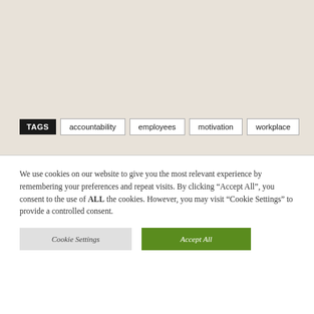[Figure (other): Beige/tan background top section of a webpage]
TAGS  accountability  employees  motivation  workplace
We use cookies on our website to give you the most relevant experience by remembering your preferences and repeat visits. By clicking “Accept All”, you consent to the use of ALL the cookies. However, you may visit "Cookie Settings" to provide a controlled consent.
Cookie Settings  Accept All